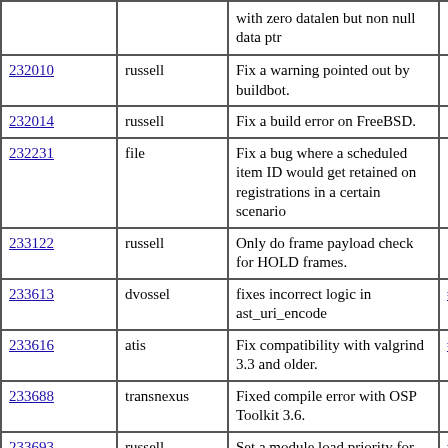| Revision | Author | Summary | Issue |
| --- | --- | --- | --- |
| (partial) | (partial) | with zero datalen but non null data ptr |  |
| 232010 | russell | Fix a warning pointed out by buildbot. |  |
| 232014 | russell | Fix a build error on FreeBSD. |  |
| 232231 | file | Fix a bug where a scheduled item ID would get retained on registrations in a certain scenario |  |
| 233122 | russell | Only do frame payload check for HOLD frames. |  |
| 233613 | dvossel | fixes incorrect logic in ast_uri_encode | #16299 |
| 233616 | atis | Fix compatibility with valgrind 3.3 and older. | #16388 |
| 233688 | transnexus | Fixed compile error with OSP Toolkit 3.6. |  |
| 233693 | russell | Set a module load priority for format modules. | #16412 |
| 234010 | russell | Fix up the faxdetect entry in CHANGES. |  |
| (partial) | (partial) | (partial) | (partial) |